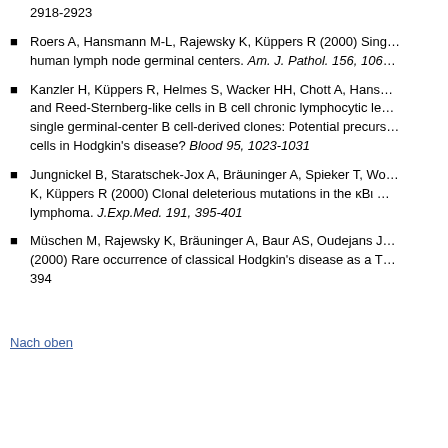2918-2923
Roers A, Hansmann M-L, Rajewsky K, Küppers R (2000) Sing… human lymph node germinal centers. Am. J. Pathol. 156, 106…
Kanzler H, Küppers R, Helmes S, Wacker HH, Chott A, Hans… and Reed-Sternberg-like cells in B cell chronic lymphocytic le… single germinal-center B cell-derived clones: Potential precurs… cells in Hodgkin's disease? Blood 95, 1023-1031
Jungnickel B, Staratschek-Jox A, Bräuninger A, Spieker T, Wo… K, Küppers R (2000) Clonal deleterious mutations in the κBι … lymphoma. J.Exp.Med. 191, 395-401
Müschen M, Rajewsky K, Bräuninger A, Baur AS, Oudejans J… (2000) Rare occurrence of classical Hodgkin's disease as a T… 394
Nach oben